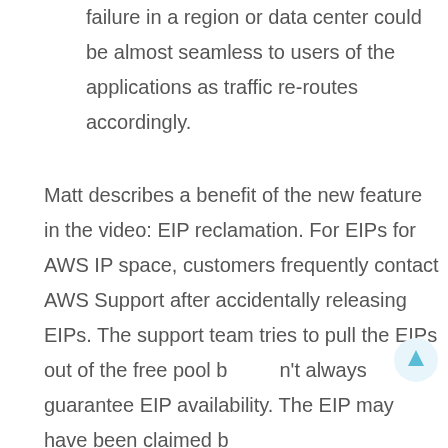failure in a region or data center could be almost seamless to users of the applications as traffic re-routes accordingly.
Matt describes a benefit of the new feature in the video: EIP reclamation. For EIPs for AWS IP space, customers frequently contact AWS Support after accidentally releasing EIPs. The support team tries to pull the EIPs out of the free pool but always guarantee EIP availability. The EIP may have been claimed by